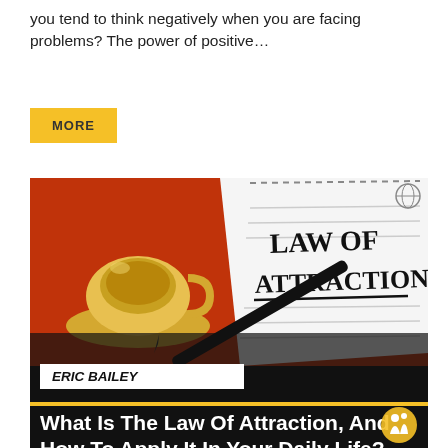you tend to think negatively when you are facing problems? The power of positive…
MORE
[Figure (photo): Photo of a notebook with 'LAW OF ATTRACTION' handwritten on it, a coffee cup, and a pen on an orange/red background, with a black overlay card at the bottom showing author name ERIC BAILEY and article title.]
ERIC BAILEY
What Is The Law Of Attraction, And How To Apply It In Your Daily Life?